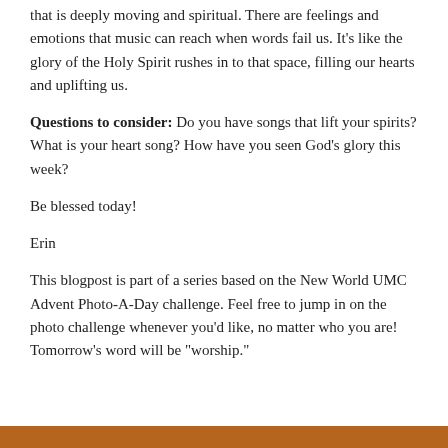that is deeply moving and spiritual. There are feelings and emotions that music can reach when words fail us. It’s like the glory of the Holy Spirit rushes in to that space, filling our hearts and uplifting us.
Questions to consider: Do you have songs that lift your spirits? What is your heart song? How have you seen God’s glory this week?
Be blessed today!
Erin
This blogpost is part of a series based on the New World UMC Advent Photo-A-Day challenge. Feel free to jump in on the photo challenge whenever you’d like, no matter who you are! Tomorrow’s word will be “worship.”